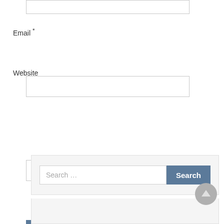[Figure (screenshot): Empty text input box at top of page]
Email *
[Figure (screenshot): Email input text box]
Website
[Figure (screenshot): Website input text box]
Post Comment
[Figure (screenshot): Search bar with Search button and scroll-to-top button]